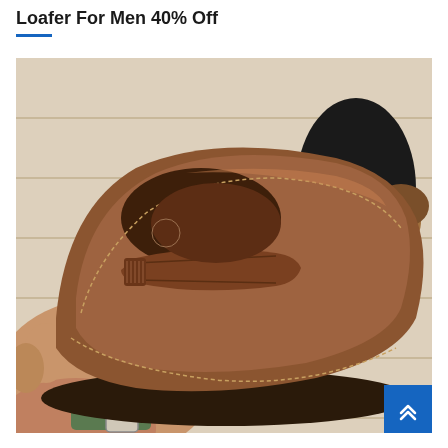Loafer For Men 40% Off
[Figure (photo): A brown leather penny loafer shoe being held by a person's hand. The person is wearing a watch with a green strap. Another loafer is visible in the background on a wooden floor. The shoes are tan/brown leather with stitching detail and a penny strap across the vamp.]